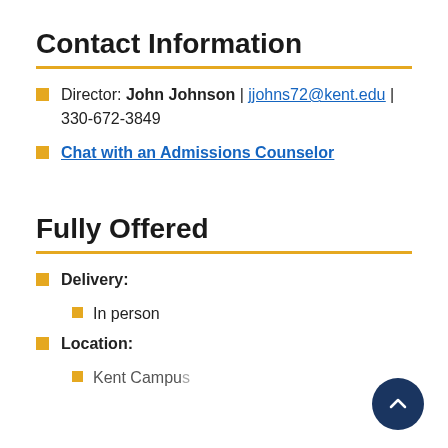Contact Information
Director: John Johnson | jjohns72@kent.edu | 330-672-3849
Chat with an Admissions Counselor
Fully Offered
Delivery:
In person
Location:
Kent Campus